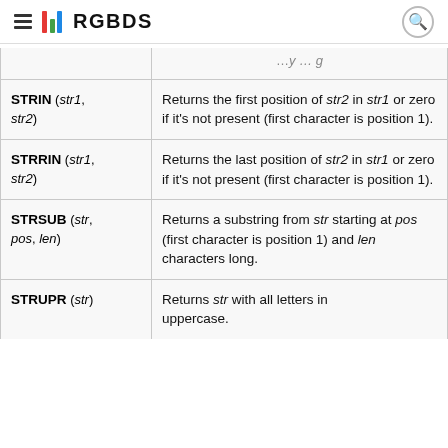RGBDS
| Function | Description |
| --- | --- |
| STRIN (str1, str2) | Returns the first position of str2 in str1 or zero if it's not present (first character is position 1). |
| STRRIN (str1, str2) | Returns the last position of str2 in str1 or zero if it's not present (first character is position 1). |
| STRSUB (str, pos, len) | Returns a substring from str starting at pos (first character is position 1) and len characters long. |
| STRUPR (str) | Returns str with all letters in uppercase. |